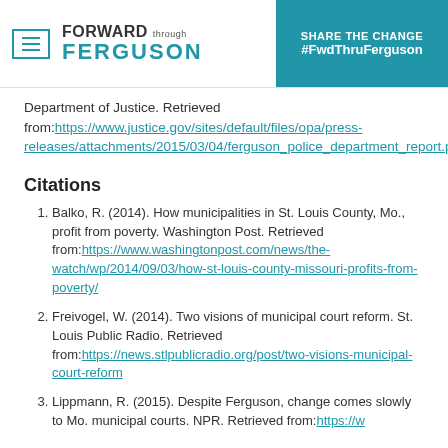FORWARD through FERGUSON | SHARE THE CHANGE #FwdThruFerguson
Department of Justice. Retrieved from:https://www.justice.gov/sites/default/files/opa/press-releases/attachments/2015/03/04/ferguson_police_department_report.pdf
Citations
Balko, R. (2014). How municipalities in St. Louis County, Mo., profit from poverty. Washington Post. Retrieved from:https://www.washingtonpost.com/news/the-watch/wp/2014/09/03/how-st-louis-county-missouri-profits-from-poverty/
Freivogel, W. (2014). Two visions of municipal court reform. St. Louis Public Radio. Retrieved from:https://news.stlpublicradio.org/post/two-visions-municipal-court-reform
Lippmann, R. (2015). Despite Ferguson, change comes slowly to Mo. municipal courts. NPR. Retrieved from:https://w